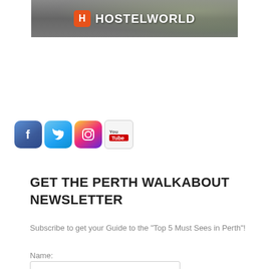[Figure (logo): Hostelworld banner advertisement with city aerial view background and Hostelworld logo (orange H icon and white text)]
[Figure (infographic): Four social media icons: Facebook (blue f), Twitter (blue bird), Instagram (gradient camera), YouTube (red/white play button)]
GET THE PERTH WALKABOUT NEWSLETTER
Subscribe to get your Guide to the "Top 5 Must Sees in Perth"!
Name: